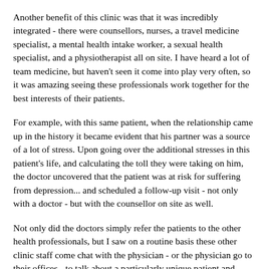Another benefit of this clinic was that it was incredibly integrated - there were counsellors, nurses, a travel medicine specialist, a mental health intake worker, a sexual health specialist, and a physiotherapist all on site. I have heard a lot of team medicine, but haven't seen it come into play very often, so it was amazing seeing these professionals work together for the best interests of their patients.
For example, with this same patient, when the relationship came up in the history it became evident that his partner was a source of a lot of stress. Upon going over the additional stresses in this patient's life, and calculating the toll they were taking on him, the doctor uncovered that the patient was at risk for suffering from depression... and scheduled a follow-up visit - not only with a doctor - but with the counsellor on site as well.
Not only did the doctors simply refer the patients to the other health professionals, but I saw on a routine basis these other clinic staff come chat with the physician - or the physician go to their offices - to talk about a particularly unique patient and brainstorm on how to best take care of them.
These doctors really cared for their patients, more so than just getting the right diagnosis or catching the most medical conditions. Time and time again, they were willing to go above and beyond, even if it meant pouring a bit of extra effort and energy into it. Something from their attitudes and their desire to